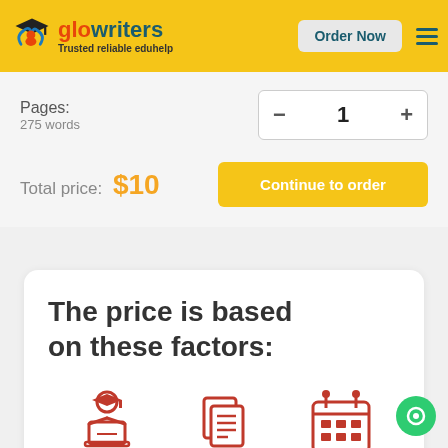[Figure (logo): GloWriters logo with graduation cap figure and text 'glowriters - Trusted reliable eduhelp']
Order Now
Pages:
275 words
1
Total price: $10
Continue to order
The price is based on these factors:
[Figure (illustration): Three red icons: academic writer (person with graduation cap at laptop), pages/document icon, calendar icon]